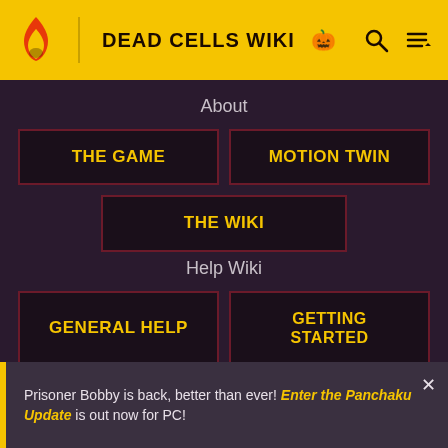DEAD CELLS WIKI
About
THE GAME
MOTION TWIN
THE WIKI
Help Wiki
GENERAL HELP
GETTING STARTED
EDITING PAGES
NEW PAGES
MOVING PAGES
BASIC IMAGES
Prisoner Bobby is back, better than ever! Enter the Panchaku Update is out now for PC!